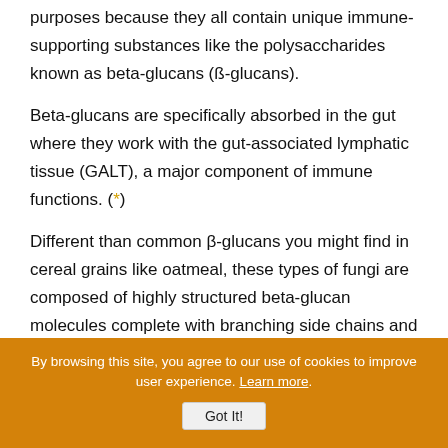purposes because they all contain unique immune-supporting substances like the polysaccharides known as beta-glucans (ß-glucans).
Beta-glucans are specifically absorbed in the gut where they work with the gut-associated lymphatic tissue (GALT), a major component of immune functions. (*)
Different than common β-glucans you might find in cereal grains like oatmeal, these types of fungi are composed of highly structured beta-glucan molecules complete with branching side chains and other attached species-specific compounds
By browsing this site, you agree to our use of cookies to improve user experience. Learn more.